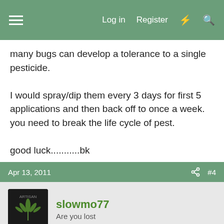☰  Log in  Register  ⚡  🔍
many bugs can develop a tolerance to a single pesticide.

I would spray/dip them every 3 days for first 5 applications and then back off to once a week. you need to break the life cycle of pest.

good luck...........bk
Apr 13, 2011  #4
slowmo77
Are you lost
what stage are your plants in? i wouldn't use neem oil in flowering ever.. when you do use it spary the entire plant and make sure you get the bottom of the leaves really good.. youll find directions on the bottle.. just follow them and you'll be fine.